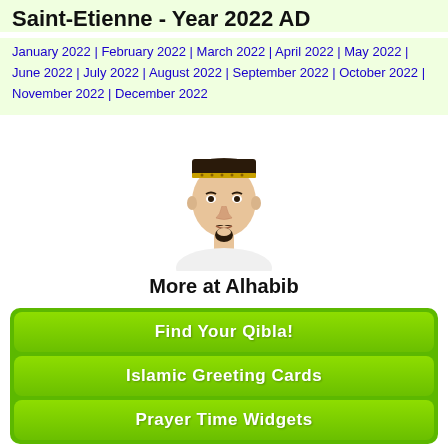Saint-Etienne - Year 2022 AD
January 2022 | February 2022 | March 2022 | April 2022 | May 2022 | June 2022 | July 2022 | August 2022 | September 2022 | October 2022 | November 2022 | December 2022
[Figure (photo): Portrait photo of a man wearing a traditional Islamic cap with gold trim, white clothing, and a goatee beard, shown from shoulders up.]
More at Alhabib
Find Your Qibla!
Islamic Greeting Cards
Prayer Time Widgets
© 2008 - 2022 alhabib | RSS | Blog | Contact | Privacy Policy | By Habib bin Hilal |